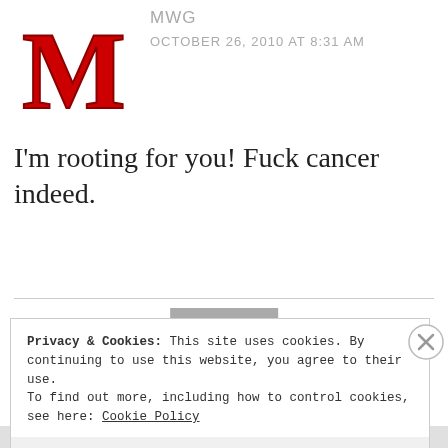[Figure (logo): Red letter M avatar for user MWG]
MWG
OCTOBER 26, 2010 AT 8:31 AM
I'm rooting for you! Fuck cancer indeed.
REPLY
[Figure (logo): Blue geometric/diamond-pattern avatar for Di@PowderRoomGraf]
Di@PowderRoomGraf
OCTOBER 26, 2010 AT 11:29 AM
Privacy & Cookies: This site uses cookies. By continuing to use this website, you agree to their use.
To find out more, including how to control cookies, see here: Cookie Policy
Close and accept